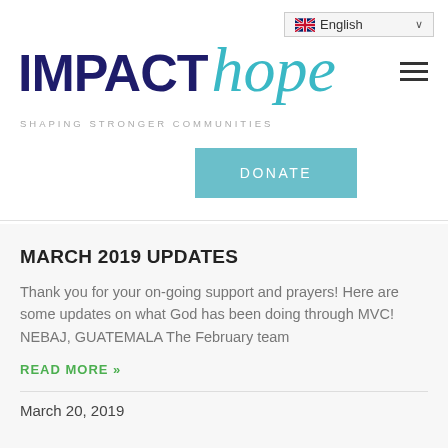[Figure (logo): Impact Hope logo with 'SHAPING STRONGER COMMUNITIES' tagline and a language selector dropdown showing English with UK flag, and a hamburger menu icon]
[Figure (other): DONATE button in teal/light-blue color]
MARCH 2019 UPDATES
Thank you for your on-going support and prayers! Here are some updates on what God has been doing through MVC! NEBAJ, GUATEMALA The February team
READ MORE »
March 20, 2019